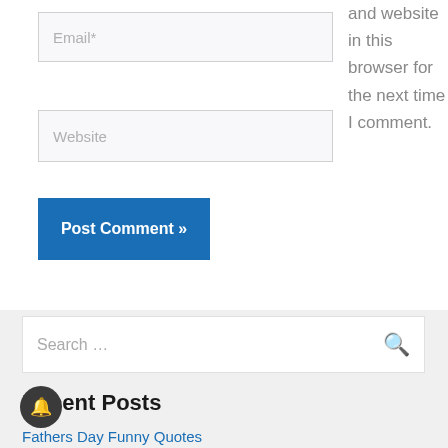Email*
and website in this browser for the next time I comment.
Website
Post Comment »
Search …
Recent Posts
Fathers Day Funny Quotes
Father's Day Drawing